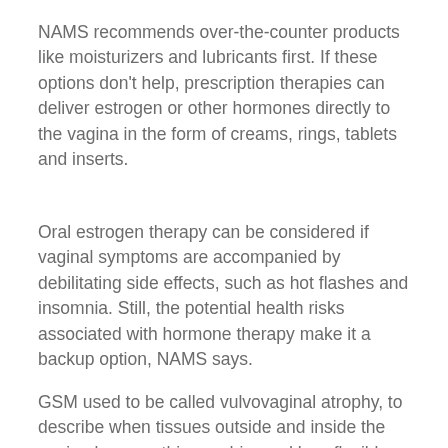NAMS recommends over-the-counter products like moisturizers and lubricants first. If these options don't help, prescription therapies can deliver estrogen or other hormones directly to the vagina in the form of creams, rings, tablets and inserts.
Oral estrogen therapy can be considered if vaginal symptoms are accompanied by debilitating side effects, such as hot flashes and insomnia. Still, the potential health risks associated with hormone therapy make it a backup option, NAMS says.
GSM used to be called vulvovaginal atrophy, to describe when tissues outside and inside the vagina become thinner, drier and less flexible due less estrogen. The new moniker GSM "acknowledges that the symptoms were more than just vaginal and that the...